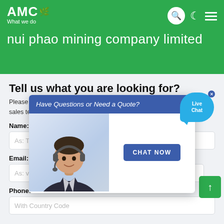AMC What we do
nui phao mining company limited
Tell us what you are looking for?
Please complete the form from and our sales team will contact you shortly with our best prices.
Name: *
As: Tom
Email: *
As: vip@shanghaimeilan.com
Phone: *
With Country Code
[Figure (screenshot): Live chat popup overlay reading 'Have Questions or Need a Quote?' with headset person image and CHAT NOW button. Also shows Live Chat bubble icon and close button.]